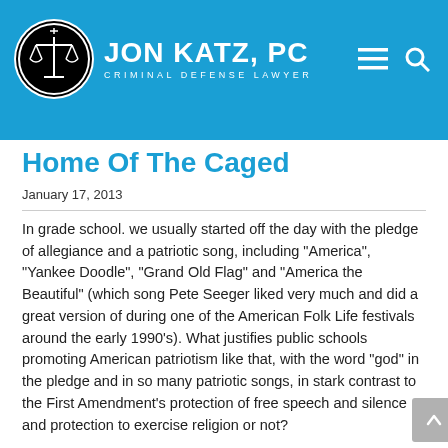[Figure (logo): Jon Katz PC Criminal Defense Lawyer logo with scales of justice in a black and white circle, name and tagline in white on blue header background]
Home Of The Caged
January 17, 2013
In grade school. we usually started off the day with the pledge of allegiance and a patriotic song, including "America", "Yankee Doodle", "Grand Old Flag" and "America the Beautiful" (which song Pete Seeger liked very much and did a great version of during one of the American Folk Life festivals around the early 1990's). What justifies public schools promoting American patriotism like that, with the word "god" in the pledge and in so many patriotic songs, in stark contrast to the First Amendment's protection of free speech and silence and protection to exercise religion or not?